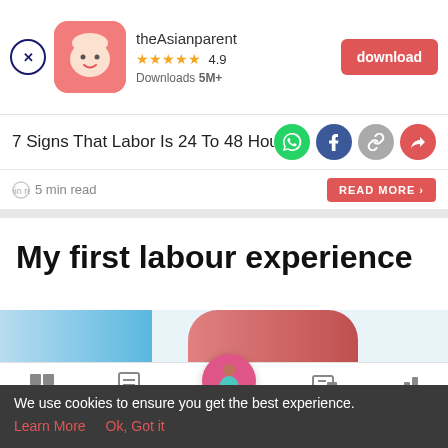[Figure (screenshot): theAsianparent app ad banner with close button, app icon, name, rating 4.9 stars, Downloads 5M+, and download button]
7 Signs That Labor Is 24 To 48 Hours
5 min read   READ MORE
My first labour experience
[Figure (illustration): Partial image bar with blue and pink/red gradient colors]
[Figure (screenshot): Bottom navigation bar with Tools, Articles, Feed, Poll icons and a pink circle center home icon]
We use cookies to ensure you get the best experience.
Learn More   Ok, Got it